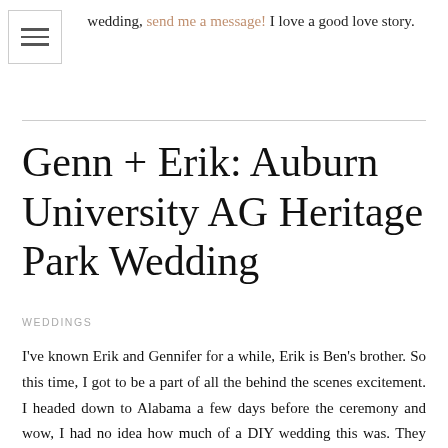wedding, send me a message! I love a good love story.
Genn + Erik: Auburn University AG Heritage Park Wedding
WEDDINGS
I've known Erik and Gennifer for a while, Erik is Ben's brother. So this time, I got to be a part of all the behind the scenes excitement. I headed down to Alabama a few days before the ceremony and wow, I had no idea how much of a DIY wedding this was. They were married at the Auburn University AG